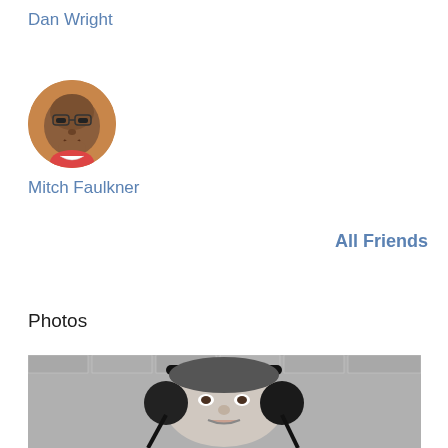Dan Wright
[Figure (photo): Circular avatar photo of Mitch Faulkner - an older man with glasses]
Mitch Faulkner
All Friends
Photos
[Figure (photo): Black and white photo of a person wearing headphones, viewed from below/upside down, against a brick wall background]